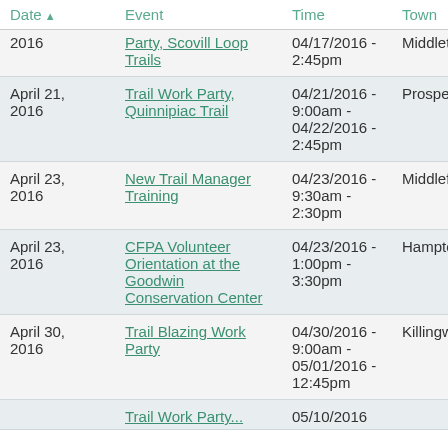| Date | Event | Time | Town | E |
| --- | --- | --- | --- | --- |
| 2016 | Party, Scovill Loop Trails | 04/17/2016 - 2:45pm | Middletown |  |
| April 21, 2016 | Trail Work Party, Quinnipiac Trail | 04/21/2016 - 9:00am - 04/22/2016 - 2:45pm | Prospect | T |
| April 23, 2016 | New Trail Manager Training | 04/23/2016 - 9:30am - 2:30pm | Middlefield | W |
| April 23, 2016 | CFPA Volunteer Orientation at the Goodwin Conservation Center | 04/23/2016 - 1:00pm - 3:30pm | Hampton | W |
| April 30, 2016 | Trail Blazing Work Party | 04/30/2016 - 9:00am - 05/01/2016 - 12:45pm | Killingworth | T |
|  | Trail Work Party... | 05/10/2016 |  |  |